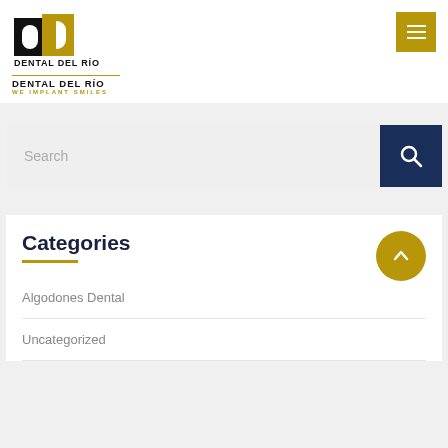[Figure (logo): Dental Del Rio logo with stylized DD letters in black and yellow, company name below]
Search
Categories
Algodones Dental
Uncategorized